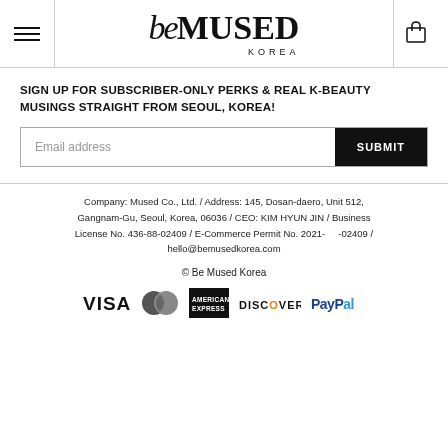[Figure (logo): beMUSED KOREA logo in header with hamburger menu and cart icon]
SIGN UP FOR SUBSCRIBER-ONLY PERKS & REAL K-BEAUTY MUSINGS STRAIGHT FROM SEOUL, KOREA!
Email address / SUBMIT
Company: Mused Co., Ltd. / Address: 145, Dosan-daero, Unit 512, Gangnam-Gu, Seoul, Korea, 06036 / CEO: KIM HYUN JIN / Business License No. 436-88-02409 / E-Commerce Permit No. 2021-      -02409 / hello@bemusedkorea.com
© Be Mused Korea
[Figure (logo): Payment icons: VISA, Mastercard, American Express, Discover, PayPal]